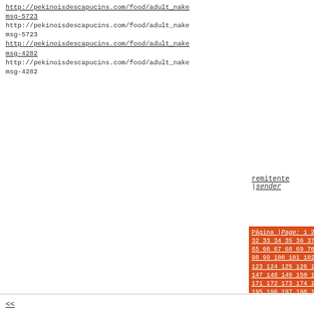http://pekinoisdescapucins.com/food/adult_nake msg-5723
http://pekinoisdescapucins.com/food/adult_nake msg-5723
http://pekinoisdescapucins.com/food/adult_nake msg-4282
http://pekinoisdescapucins.com/food/adult_nake msg-4282
remitente | sender
Página | Page: 1 2 3 4 5 6 7 8 9 10 11 12 13 14 32 33 34 35 36 37 38 39 40 41 42 43 44 45 46 4 65 66 67 68 69 70 71 72 73 74 75 76 77 78 79 8 98 99 100 101 102 103 104 105 106 107 108 109 123 124 125 126 127 128 129 130 131 132 133 13 147 148 149 150 151 152 153 154 155 156 157 15 171 172 173 174 175 176 177 178 179 180 181 18 195 196 197 198 199 200 201 202 203 204 205 20 219 220 221 222 223 224 225 226 227 228 229 23 243 244 245 246 247 248 249 250 251 252 253 25 267 268 269 270 271 272 273 274 275 276 277 27 291 292 293 294 295 296 297 298 299 300 301 30 315 316 317 318 319 320 321 322 323 324 325 32 339 340 341 342 343 344 345 346 347 348 349 35 363 364 365 366 367 368 369 370 371 372 373 37 387 388 389 390 391 392 393 394 395 396 397 39 411 412 413 414 415 416 417 418 419 420 421 42 435 436 437 438 439 440 441 442 443 444 445 44 459 460 461 462 463 464 465 466 467 468 469 47 483 484 485 486 487 488 489 490 491 492 493 49 507 508 509 510 511 512 513 514 515 516 517 51 531 532 533 534 535 536 537 538 539 540 541 54 555 556 557 558 559 560 561 562 563 564
<<